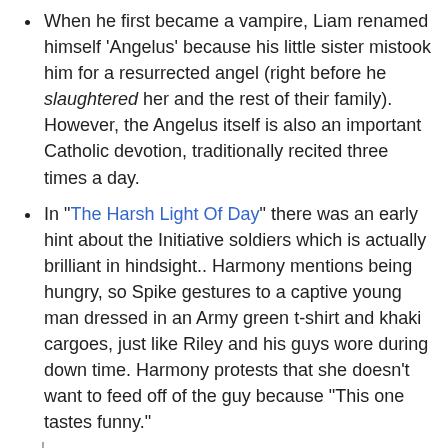When he first became a vampire, Liam renamed himself 'Angelus' because his little sister mistook him for a resurrected angel (right before he slaughtered her and the rest of their family). However, the Angelus itself is also an important Catholic devotion, traditionally recited three times a day.
In "The Harsh Light Of Day" there was an early hint about the Initiative soldiers which is actually brilliant in hindsight.. Harmony mentions being hungry, so Spike gestures to a captive young man dressed in an Army green t-shirt and khaki cargoes, just like Riley and his guys wore during down time. Harmony protests that she doesn't want to feed off of the guy because "This one tastes funny."
Remember how at the end of season two how Angelus spat out swim-team-guy's blood. Buffy speculated that he might be able to taste the steroids in his blood stream, so Harmony might have been tasting the Initiative's cocktail of super soldier drugs...